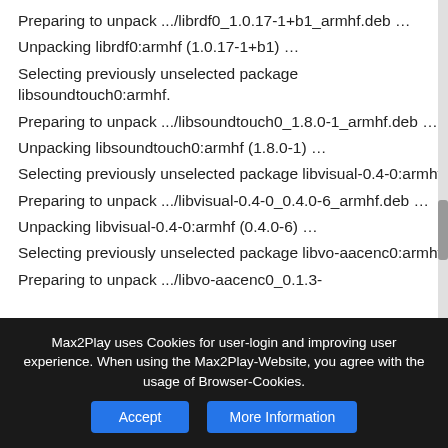Preparing to unpack .../librdf0_1.0.17-1+b1_armhf.deb ...
Unpacking librdf0:armhf (1.0.17-1+b1) ...
Selecting previously unselected package libsoundtouch0:armhf.
Preparing to unpack .../libsoundtouch0_1.8.0-1_armhf.deb ...
Unpacking libsoundtouch0:armhf (1.8.0-1) ...
Selecting previously unselected package libvisual-0.4-0:armhf.
Preparing to unpack .../libvisual-0.4-0_0.4.0-6_armhf.deb ...
Unpacking libvisual-0.4-0:armhf (0.4.0-6) ...
Selecting previously unselected package libvo-aacenc0:armhf.
Preparing to unpack .../libvo-aacenc0_0.1.3-
Max2Play uses Cookies for user-login and improving user experience. When using the Max2Play-Website, you agree with the usage of Browser-Cookies.